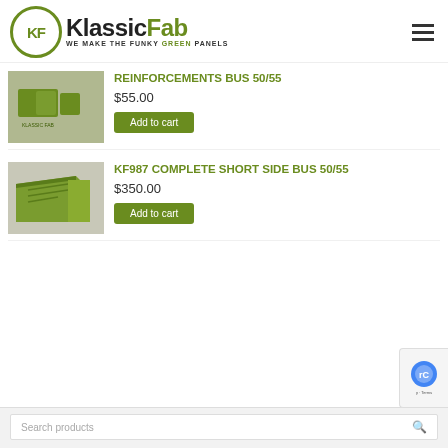[Figure (logo): KlassicFab logo with green circle KF emblem and tagline WE MAKE THE FUNKY GREEN PANELS]
REINFORCEMENTS BUS 50/55
$55.00
Add to cart
[Figure (photo): Green panel product photo - KF987 Complete Short Side Bus 50/55]
KF987 COMPLETE SHORT SIDE BUS 50/55
$350.00
Add to cart
Search products